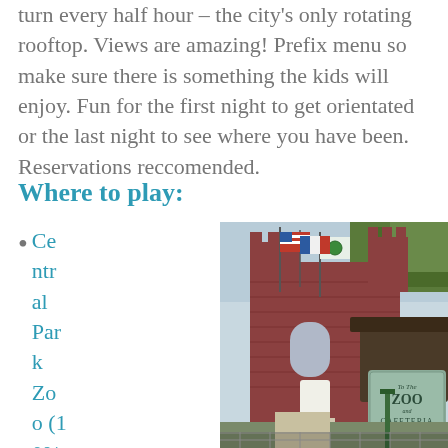turn every half hour – the city's only rotating rooftop.  Views are amazing!  Prefix menu so make sure there is something the kids will enjoy.  Fun for the first night to get orientated or the last night to see where you have been.  Reservations reccomended.
Where to play:
Central Park Zoo (10% off tic
[Figure (photo): Photo of Central Park Zoo entrance with a brick castle-like building, American flag and other flags on poles, and a 'To The Zoo and Cafeteria' green sign in the foreground.]